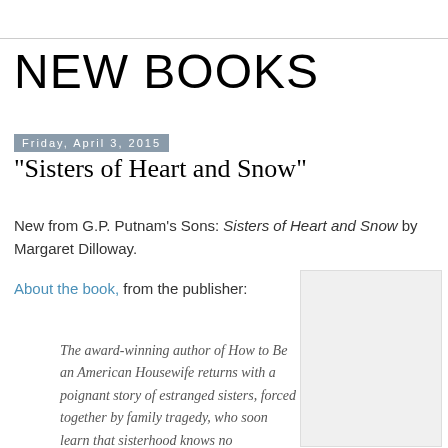NEW BOOKS
Friday, April 3, 2015
"Sisters of Heart and Snow"
New from G.P. Putnam's Sons: Sisters of Heart and Snow by Margaret Dilloway.
About the book, from the publisher:
The award-winning author of How to Be an American Housewife returns with a poignant story of estranged sisters, forced together by family tragedy, who soon learn that sisterhood knows no
[Figure (photo): Book cover image placeholder (light gray box)]